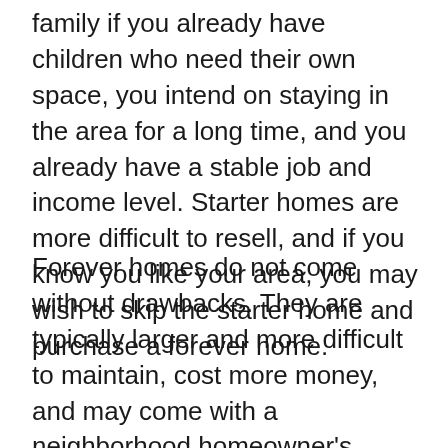family if you already have children who need their own space, you intend on staying in the area for a long time, and you already have a stable job and income level. Starter homes are more difficult to resell, and if you know you like your area, you may wish to skip the starter home and purchase a forever home.
Forever homes do not come without drawbacks. They are typically larger and more difficult to maintain, cost more money, and may come with a neighborhood homeowner's association fee; however, they allow you the ability to put down roots and grow your family as you see fit.